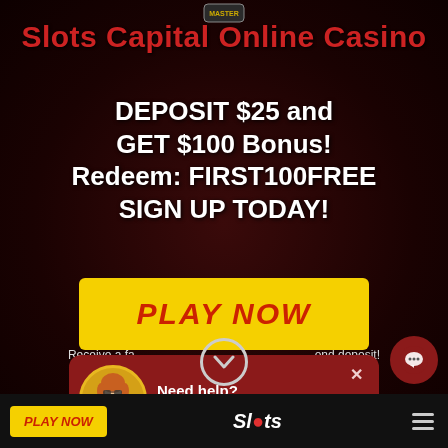Slots Capital Online Casino
DEPOSIT $25 and GET $100 Bonus!
Redeem: FIRST100FREE
SIGN UP TODAY!
[Figure (screenshot): Yellow PLAY NOW button]
Receive a fa... ond deposit!
[Figure (infographic): Need help? Our staff are ready to help! popup with avatar of a woman in orange top]
Terms and Conditions apply!
PLAY NOW | Slots | hamburger menu